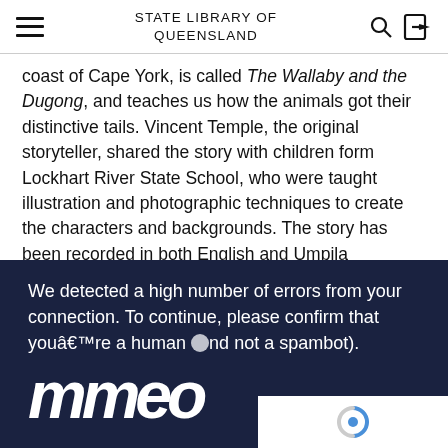STATE LIBRARY OF QUEENSLAND
coast of Cape York, is called The Wallaby and the Dugong, and teaches us how the animals got their distinctive tails. Vincent Temple, the original storyteller, shared the story with children form Lockhart River State School, who were taught illustration and photographic techniques to create the characters and backgrounds. The story has been recorded in both English and Umpila languages.
We detected a high number of errors from your connection. To continue, please confirm that youâ€™re a human (and not a spambot).
[Figure (logo): Partially visible stylized white text logo at bottom of dark navy captcha box, showing letters 'mmeo' or similar in large italic bold font]